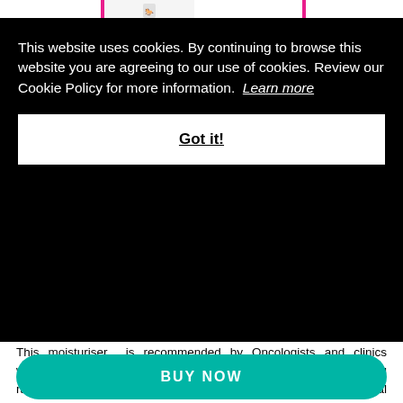[Figure (screenshot): Top navigation banner with pink vertical bars and a product image in the center on white background]
This website uses cookies. By continuing to browse this website you are agreeing to our use of cookies. Review our Cookie Policy for more information.  Learn more
Got it!
This moisturiser is recommended by Oncologists and clinics worldwide as a nourishing cream for dry and damaged skin following radiation treatment and chemotherapy. Chock-a-block with natural moisturising and soothing ingredients such as Coconut Oil, Aloe Vera, Natural Vitamin E and Milk Protein to increase skin elasticity.
BUY NOW